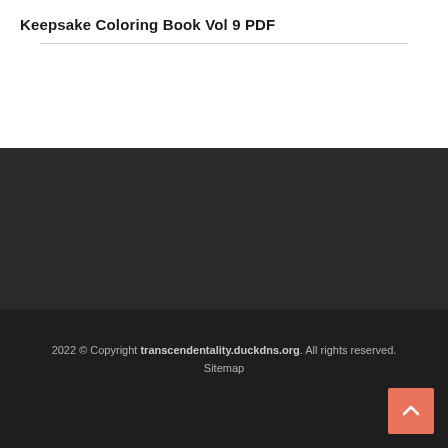Keepsake Coloring Book Vol 9 PDF
2022 © Copyright transcendentality.duckdns.org. All rights reserved. Sitemap